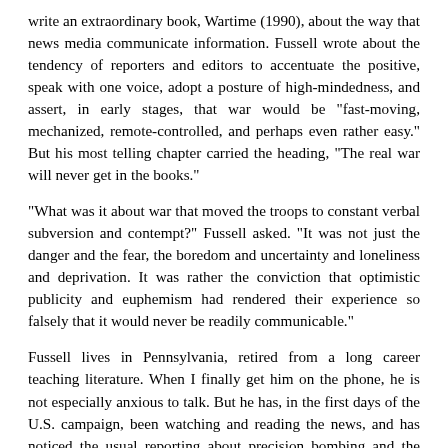write an extraordinary book, Wartime (1990), about the way that news media communicate information. Fussell wrote about the tendency of reporters and editors to accentuate the positive, speak with one voice, adopt a posture of high-mindedness, and assert, in early stages, that war would be "fast-moving, mechanized, remote-controlled, and perhaps even rather easy." But his most telling chapter carried the heading, "The real war will never get in the books."
"What was it about war that moved the troops to constant verbal subversion and contempt?" Fussell asked. "It was not just the danger and the fear, the boredom and uncertainty and loneliness and deprivation. It was rather the conviction that optimistic publicity and euphemism had rendered their experience so falsely that it would never be readily communicable."
Fussell lives in Pennsylvania, retired from a long career teaching literature. When I finally get him on the phone, he is not especially anxious to talk. But he has, in the first days of the U.S. campaign, been watching and reading the news, and has noticed the usual reporting about precision bombing and the sharply executed actions of elite ground troops.
"Those of us who've been through World War II know how empty that is," he says. "Americans have no idea what war is about. And